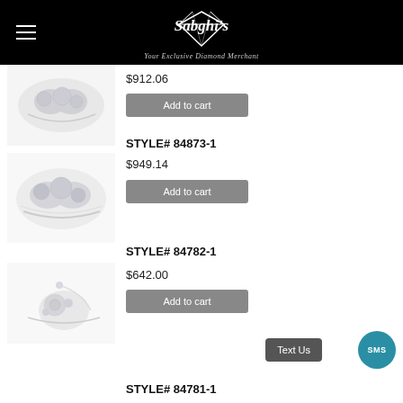Sabghi's — Your Exclusive Diamond Merchant
$912.06
Add to cart
STYLE# 84873-1
$949.14
Add to cart
STYLE# 84782-1
$642.00
Add to cart
STYLE# 84781-1
Text Us
SMS